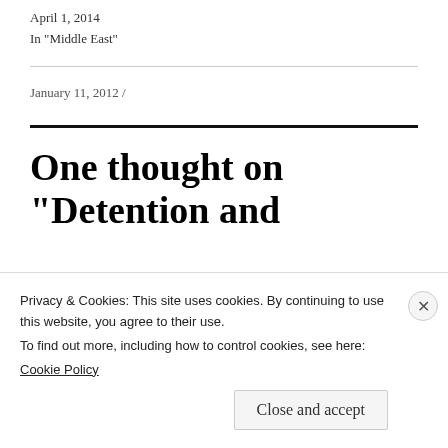April 1, 2014
In "Middle East"
January 11, 2012 /
One thought on “Detention and
Privacy & Cookies: This site uses cookies. By continuing to use this website, you agree to their use.
To find out more, including how to control cookies, see here:
Cookie Policy
Close and accept